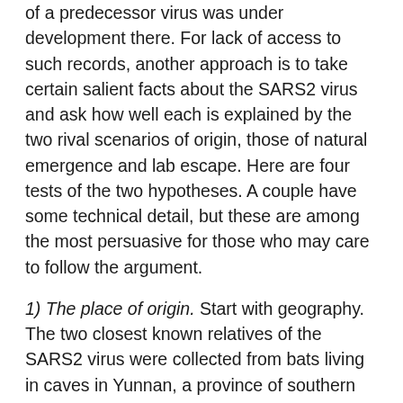of a predecessor virus was under development there. For lack of access to such records, another approach is to take certain salient facts about the SARS2 virus and ask how well each is explained by the two rival scenarios of origin, those of natural emergence and lab escape. Here are four tests of the two hypotheses. A couple have some technical detail, but these are among the most persuasive for those who may care to follow the argument.
1) The place of origin. Start with geography. The two closest known relatives of the SARS2 virus were collected from bats living in caves in Yunnan, a province of southern China. If the SARS2 virus had first infected people living around the Yunnan caves, that would strongly support the idea that the virus had spilled over to people naturally. But this isn't what happened. The pandemic broke out 1,500 kilometers away, in Wuhan.